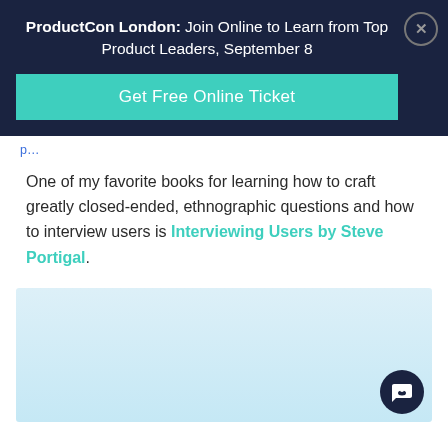ProductCon London: Join Online to Learn from Top Product Leaders, September 8
Get Free Online Ticket
One of my favorite books for learning how to craft greatly closed-ended, ethnographic questions and how to interview users is Interviewing Users by Steve Portigal.
[Figure (illustration): Light blue gradient rectangular image placeholder at the bottom of the page with a dark navy chat button in the bottom right corner]